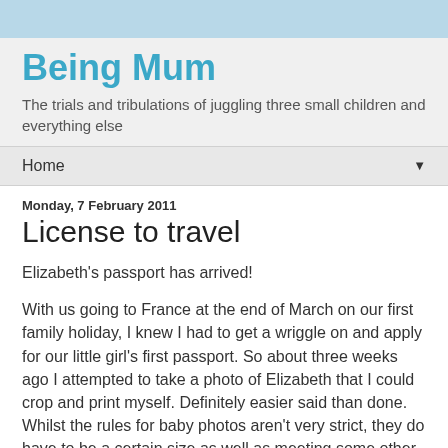Being Mum
The trials and tribulations of juggling three small children and everything else
Home
Monday, 7 February 2011
License to travel
Elizabeth's passport has arrived!
With us going to France at the end of March on our first family holiday, I knew I had to get a wriggle on and apply for our little girl's first passport. So about three weeks ago I attempted to take a photo of Elizabeth that I could crop and print myself. Definitely easier said than done. Whilst the rules for baby photos aren't very strict, they do have to be a certain size as well as meeting some other rules. I faffed for